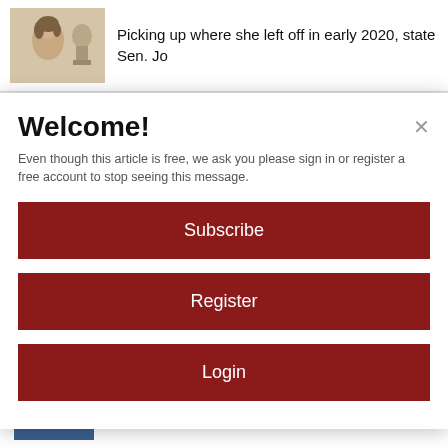[Figure (screenshot): Top article preview with photo of a woman and a bust sculpture, with text 'Picking up where she left off in early 2020, state Sen. Jo']
Welcome!
Even though this article is free, we ask you please sign in or register a free account to stop seeing this message.
Subscribe
Register
Login
Active shooter alert at Amherst College false alarm
Today